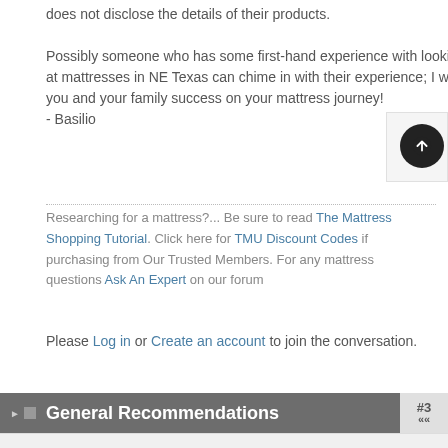Possibly someone who has some first-hand experience with looking at mattresses in NE Texas can chime in with their experience; I wish you and your family success on your mattress journey!
- Basilio
Researching for a mattress?... Be sure to read The Mattress Shopping Tutorial. Click here for TMU Discount Codes if purchasing from Our Trusted Members. For any mattress questions Ask An Expert on our forum
Please Log in or Create an account to join the conversation.
General Recommendations #3